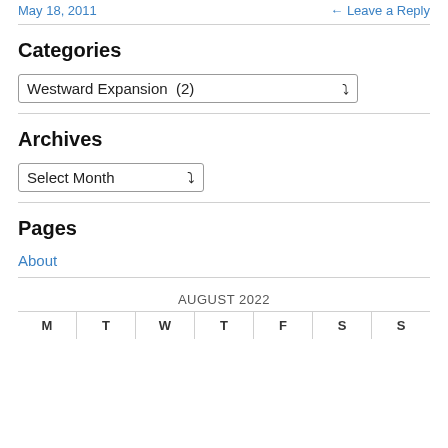May 18, 2011   Leave a Reply
Categories
Westward Expansion  (2)
Archives
Select Month
Pages
About
AUGUST 2022
| M | T | W | T | F | S | S |
| --- | --- | --- | --- | --- | --- | --- |